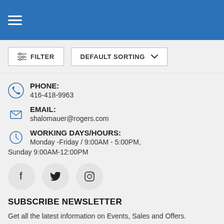Navigation bar with hamburger menu and blue background
FILTER | DEFAULT SORTING
PHONE: 416-418-9963
EMAIL: shalomauer@rogers.com
WORKING DAYS/HOURS: Monday -Friday / 9:00AM - 5:00PM, Sunday 9:00AM-12:00PM
[Figure (illustration): Social media icons: Facebook, Twitter, Instagram in circular buttons]
SUBSCRIBE NEWSLETTER
Get all the latest information on Events, Sales and Offers. Sign up for newsletter today.